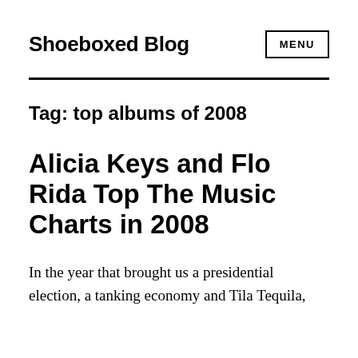Shoeboxed Blog
Tag: top albums of 2008
Alicia Keys and Flo Rida Top The Music Charts in 2008
In the year that brought us a presidential election, a tanking economy and Tila Tequila,